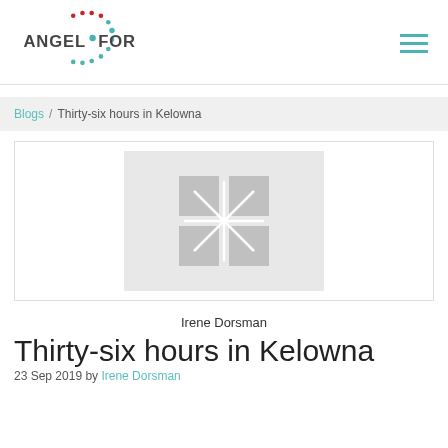[Figure (logo): Angel Forum logo with dot circle motif and text ANGEL FORUM]
[Figure (other): Hamburger menu icon (three horizontal teal lines)]
Blogs / Thirty-six hours in Kelowna
[Figure (photo): Placeholder image with broken image icon (four quadrant asterisk pattern on grey background)]
Irene Dorsman
Thirty-six hours in Kelowna
23 Sep 2019 by Irene Dorsman